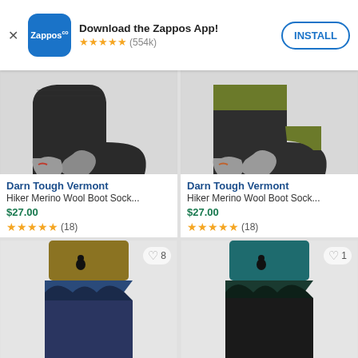[Figure (screenshot): Zappos app install banner with logo, 5-star rating (554k reviews), and INSTALL button]
[Figure (photo): Darn Tough Vermont black ankle hiking sock on white/grey background]
[Figure (photo): Darn Tough Vermont olive/green ankle hiking sock on white/grey background]
Darn Tough Vermont
Hiker Merino Wool Boot Sock...
$27.00
★★★★★ (18)
Darn Tough Vermont
Hiker Merino Wool Boot Sock...
$27.00
★★★★★ (18)
[Figure (photo): Crew sock with olive/mustard top and blue mountain scene pattern, heart icon with count 8]
[Figure (photo): Crew sock with teal top and dark mountain/tree scene pattern, heart icon with count 1]